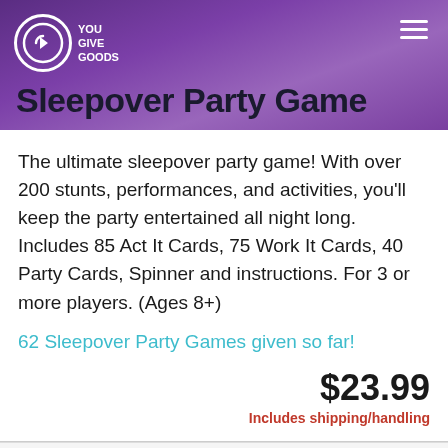Sleepover Party Game
The ultimate sleepover party game! With over 200 stunts, performances, and activities, you'll keep the party entertained all night long. Includes 85 Act It Cards, 75 Work It Cards, 40 Party Cards, Spinner and instructions. For 3 or more players. (Ages 8+)
62 Sleepover Party Games given so far!
$23.99
Includes shipping/handling
[Figure (photo): Trolls World Tour product box image showing colorful game packaging with Trolls characters]